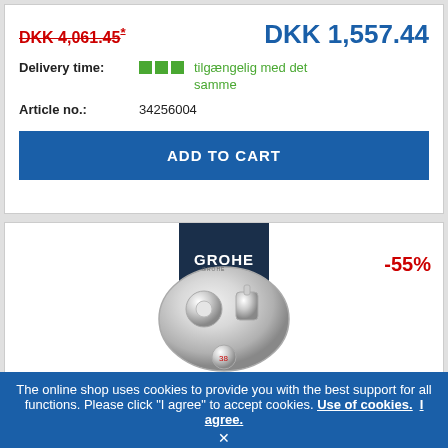DKK 4,061.45* (strikethrough) | DKK 1,557.44
Delivery time: tilgængelig med det samme
Article no.: 34256004
ADD TO CART
[Figure (logo): GROHE brand logo on dark navy background with wave motif]
-55%
[Figure (photo): Chrome round thermostat valve product image]
The online shop uses cookies to provide you with the best support for all functions. Please click "I agree" to accept cookies. Use of cookies. I agree.